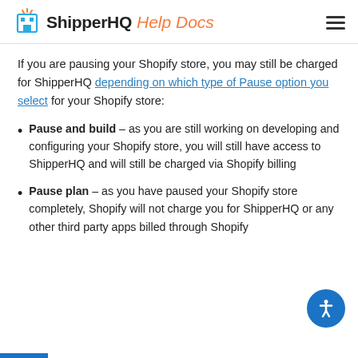ShipperHQ Help Docs
If you are pausing your Shopify store, you may still be charged for ShipperHQ depending on which type of Pause option you select for your Shopify store:
Pause and build – as you are still working on developing and configuring your Shopify store, you will still have access to ShipperHQ and will still be charged via Shopify billing
Pause plan – as you have paused your Shopify store completely, Shopify will not charge you for ShipperHQ or any other third party apps billed through Shopify